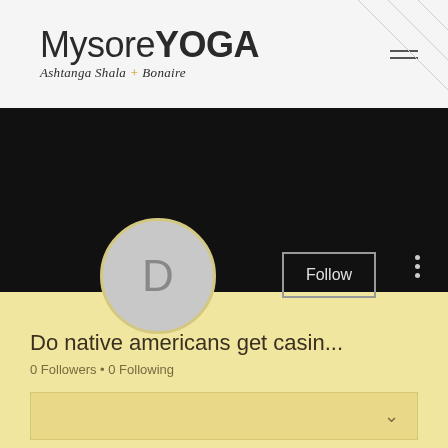[Figure (logo): MysoreYOGA Ashtanga Shala + Bonaire logo with hamburger menu icon]
[Figure (screenshot): Black banner background for user profile header]
[Figure (illustration): Gray circular avatar with letter D, Follow button with border, three-dot menu]
Do native americans get casin...
0 Followers • 0 Following
∨
Profile
Join date: Apr 8, 2022